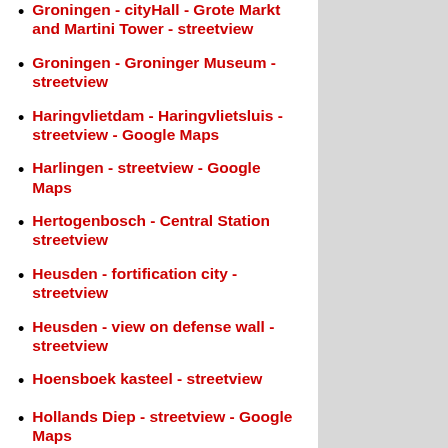Groningen - cityHall - Grote Markt and Martini Tower - streetview
Groningen - Groninger Museum - streetview
Haringvlietdam - Haringvlietsluis - streetview - Google Maps
Harlingen - streetview - Google Maps
Hertogenbosch - Central Station streetview
Heusden - fortification city - streetview
Heusden - view on defense wall - streetview
Hoensboek kasteel - streetview
Hollands Diep - streetview - Google Maps